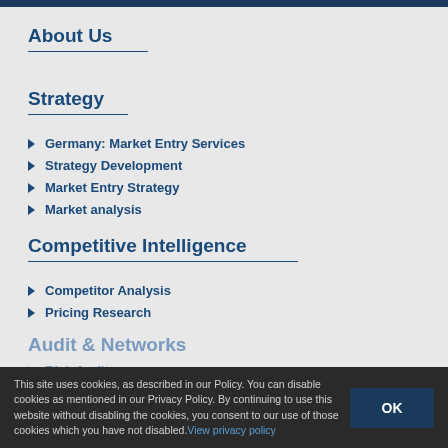About Us
Strategy
Germany: Market Entry Services
Strategy Development
Market Entry Strategy
Market analysis
Competitive Intelligence
Competitor Analysis
Pricing Research
This site uses cookies, as described in our Policy. You can disable cookies as mentioned in our Privacy Policy. By continuing to use this website without disabling the cookies, you consent to our use of those cookies which you have not disabled. View privacy policy